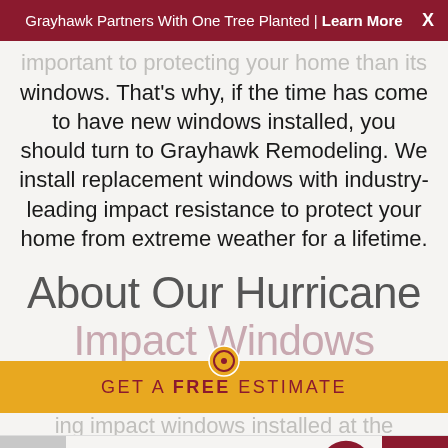Grayhawk Partners With One Tree Planted | Learn More  X
important to protecting your home than its windows. That's why, if the time has come to have new windows installed, you should turn to Grayhawk Remodeling. We install replacement windows with industry-leading impact resistance to protect your home from extreme weather for a lifetime.
About Our Hurricane
Impact Windows
GET A FREE ESTIMATE
Roofing  Windows  Doors